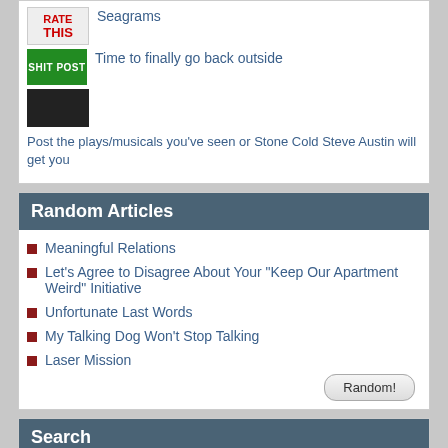Seagrams
Time to finally go back outside
Post the plays/musicals you've seen or Stone Cold Steve Austin will get you
Random Articles
Meaningful Relations
Let's Agree to Disagree About Your "Keep Our Apartment Weird" Initiative
Unfortunate Last Words
My Talking Dog Won't Stop Talking
Laser Mission
Search
Search SA
Search Amazon
Email Jeffrey "of" YOSPOS
Advertise on SA